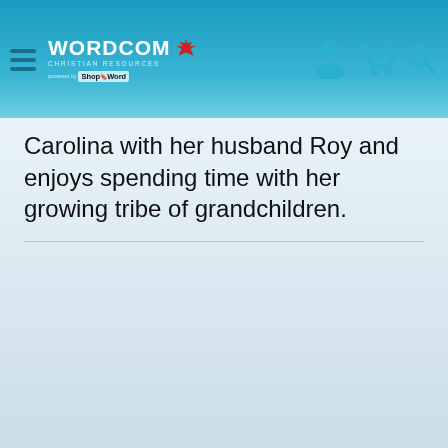Wordcom Christian Resources — powered by ShopTheWord
Carolina with her husband Roy and enjoys spending time with her growing tribe of grandchildren.